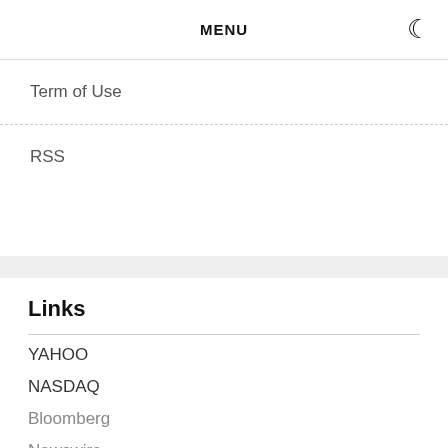MENU
Term of Use
RSS
Links
YAHOO
NASDAQ
Bloomberg
Newswire